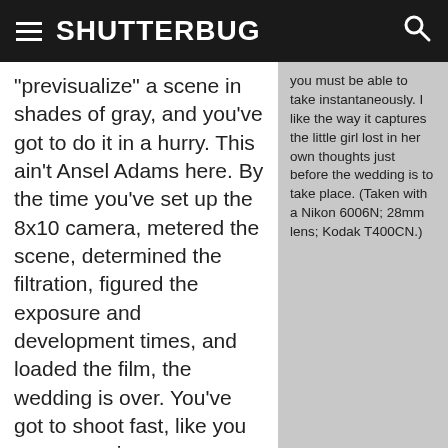SHUTTERBUG
"previsualize" a scene in shades of gray, and you've got to do it in a hurry. This ain't Ansel Adams here. By the time you've set up the 8x10 camera, metered the scene, determined the filtration, figured the exposure and development times, and loaded the film, the wedding is over. You've got to shoot fast, like you were covering a news event or maybe Sharon Stone's shirt opened for half a second and you got it. Think "decisive moment" vs. pristine landscape. Be more concerned with
you must be able to take instantaneously. I like the way it captures the little girl lost in her own thoughts just before the wedding is to take place. (Taken with a Nikon 6006N; 28mm lens; Kodak T400CN.)